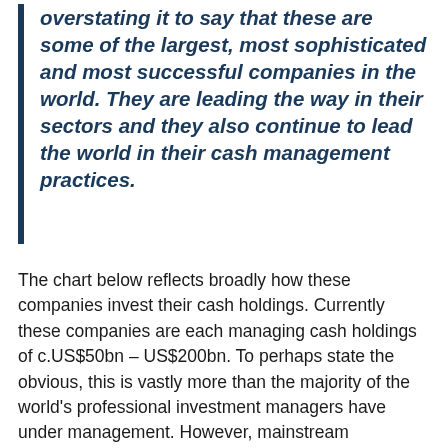overstating it to say that these are some of the largest, most sophisticated and most successful companies in the world. They are leading the way in their sectors and they also continue to lead the world in their cash management practices.
The chart below reflects broadly how these companies invest their cash holdings. Currently these companies are each managing cash holdings of c.US$50bn – US$200bn. To perhaps state the obvious, this is vastly more than the majority of the world's professional investment managers have under management. However, mainstream investment managers will be managing assets across a range of different